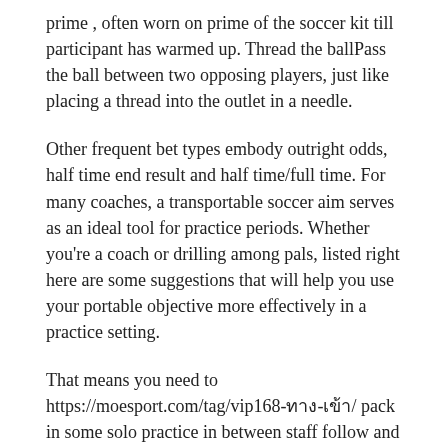prime , often worn on prime of the soccer kit till participant has warmed up. Thread the ballPass the ball between two opposing players, just like placing a thread into the outlet in a needle.
Other frequent bet types embody outright odds, half time end result and half time/full time. For many coaches, a transportable soccer aim serves as an ideal tool for practice periods. Whether you're a coach or drilling among pals, listed right here are some suggestions that will help you use your portable objective more effectively in a practice setting.
That means you need to https://moesport.com/tag/vip168-ทาง-เข้า/ pack in some solo practice in between staff follow and matches and doing that can be challenging. A soccer field is typically 2 acres in dimension, however you can seize enough room to practice in case you have a flat space